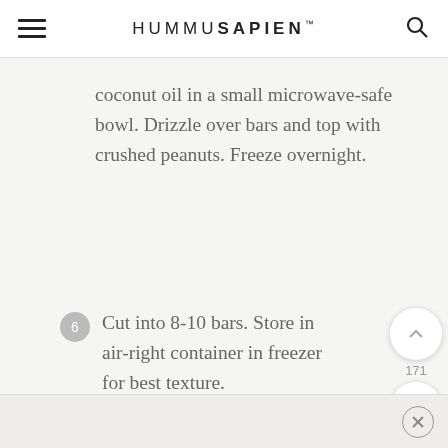HUMMUSAPIEN
coconut oil in a small microwave-safe bowl. Drizzle over bars and top with crushed peanuts. Freeze overnight.
6 Cut into 8-10 bars. Store in air-right container in freezer for best texture.